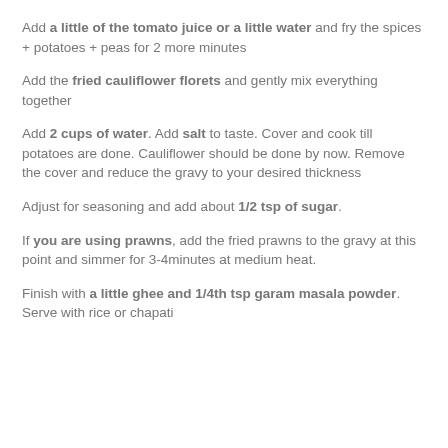Add a little of the tomato juice or a little water and fry the spices + potatoes + peas for 2 more minutes
Add the fried cauliflower florets and gently mix everything together
Add 2 cups of water. Add salt to taste. Cover and cook till potatoes are done. Cauliflower should be done by now. Remove the cover and reduce the gravy to your desired thickness
Adjust for seasoning and add about 1/2 tsp of sugar.
If you are using prawns, add the fried prawns to the gravy at this point and simmer for 3-4minutes at medium heat.
Finish with a little ghee and 1/4th tsp garam masala powder. Serve with rice or chapati